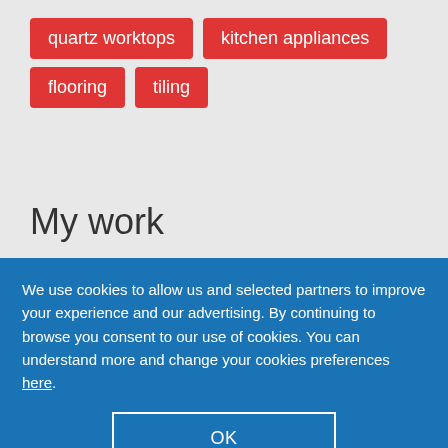quartz worktops
kitchen appliances
flooring
tiling
My work
[Figure (photo): Partial photo strip visible behind cookie overlay]
We use cookies to allow us and selected partners to improve your experience and our advertising. By continuing to browse you consent to our use of cookies. You can understand more and change your cookies preferences here.
OK